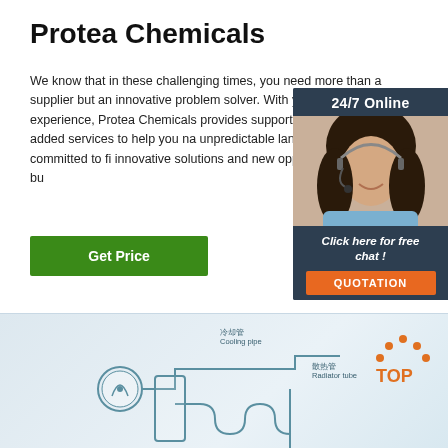Protea Chemicals
We know that in these challenging times, you need more than a supplier but an innovative problem solver. With years of experience, Protea Chemicals provides support and value-added services to help you navigate an unpredictable landscape. We are committed to finding innovative solutions and new opportunities for business.
Get Price
[Figure (infographic): 24/7 Online chat widget with a woman wearing a headset, dark blue background, 'Click here for free chat!' text, and an orange QUOTATION button]
[Figure (engineering-diagram): Cooling system diagram with Chinese and English labels including Cooling pipe (冷却管) and Radiator tube (散热管), with a TOP logo in orange in the top right corner]